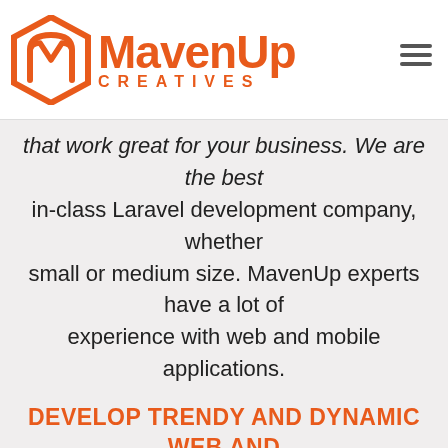[Figure (logo): MavenUp Creatives logo with orange hexagon icon and orange text reading MavenUp Creatives]
that work great for your business. We are the best in-class Laravel development company, whether small or medium size. MavenUp experts have a lot of experience with web and mobile applications.
DEVELOP TRENDY AND DYNAMIC WEB AND APPS WITH OUR LARAVEL WEB APPLICATION DEVELOPMENT COMPANY
Choose a Laravel development solution that offers unparalleled website performance. We provide a